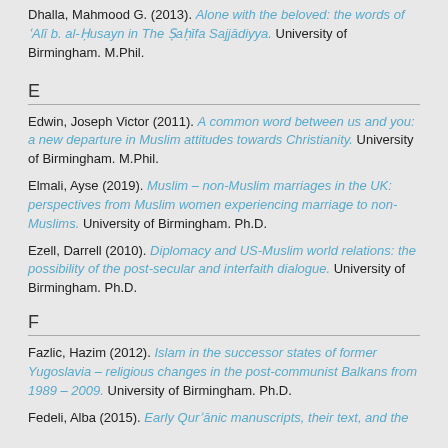Dhalla, Mahmood G. (2013). Alone with the beloved: the words of ʿAlī b. al-Ḥusayn in The Ṣaḥīfa Sajjādiyya. University of Birmingham. M.Phil.
E
Edwin, Joseph Victor (2011). A common word between us and you: a new departure in Muslim attitudes towards Christianity. University of Birmingham. M.Phil.
Elmali, Ayse (2019). Muslim – non-Muslim marriages in the UK: perspectives from Muslim women experiencing marriage to non-Muslims. University of Birmingham. Ph.D.
Ezell, Darrell (2010). Diplomacy and US-Muslim world relations: the possibility of the post-secular and interfaith dialogue. University of Birmingham. Ph.D.
F
Fazlic, Hazim (2012). Islam in the successor states of former Yugoslavia – religious changes in the post-communist Balkans from 1989 – 2009. University of Birmingham. Ph.D.
Fedeli, Alba (2015). Early Qurʾānic manuscripts, their text, and the